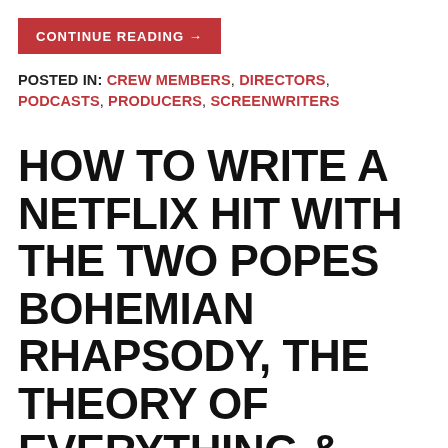CONTINUE READING →
POSTED IN: CREW MEMBERS, DIRECTORS, PODCASTS, PRODUCERS, SCREENWRITERS
HOW TO WRITE A NETFLIX HIT WITH THE TWO POPES BOHEMIAN RHAPSODY, THE THEORY OF EVERYTHING & DARKEST HOUR SCREENWRITER & PRODUCER